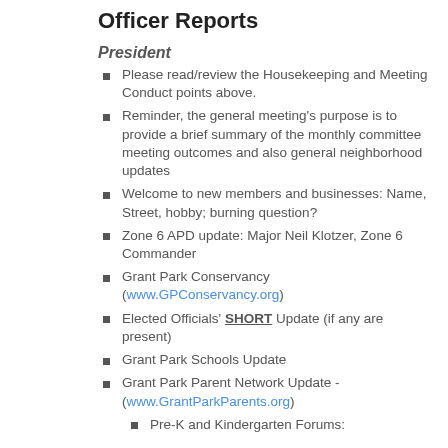Officer Reports
President
Please read/review the Housekeeping and Meeting Conduct points above.
Reminder, the general meeting's purpose is to provide a brief summary of the monthly committee meeting outcomes and also general neighborhood updates
Welcome to new members and businesses: Name, Street, hobby; burning question?
Zone 6 APD update: Major Neil Klotzer, Zone 6 Commander
Grant Park Conservancy (www.GPConservancy.org)
Elected Officials' SHORT Update (if any are present)
Grant Park Schools Update
Grant Park Parent Network Update - (www.GrantParkParents.org)
Pre-K and Kindergarten Forums: